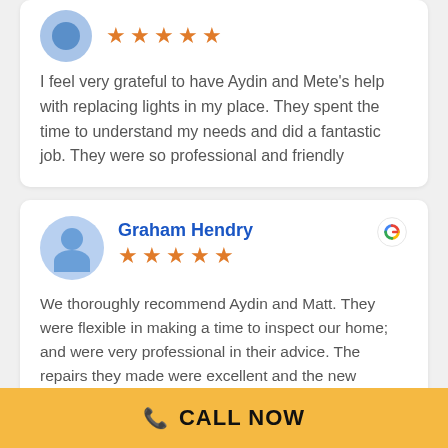[Figure (illustration): Partial review card with avatar (blue circle) and 5 orange stars]
I feel very grateful to have Aydin and Mete's help with replacing lights in my place. They spent the time to understand my needs and did a fantastic job. They were so professional and friendly
[Figure (illustration): Review card for Graham Hendry with blue avatar, 5 orange stars, and Google G logo]
Graham Hendry
We thoroughly recommend Aydin and Matt. They were flexible in making a time to inspect our home; and were very professional in their advice. The repairs they made were excellent and the new
📞 CALL NOW